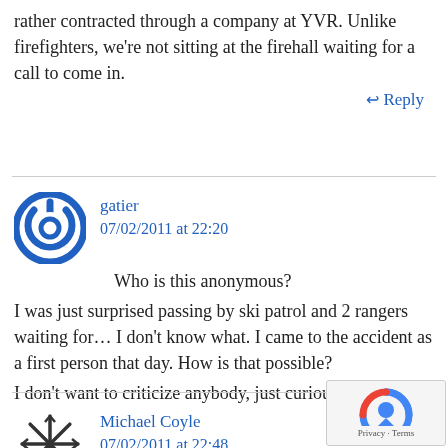rather contracted through a company at YVR. Unlike firefighters, we're not sitting at the firehall waiting for a call to come in.
↩ Reply
gatier
07/02/2011 at 22:20
Who is this anonymous?
I was just surprised passing by ski patrol and 2 rangers waiting for… I don't know what. I came to the accident as a first person that day. How is that possible?
I don't want to criticize anybody, just curious.
↩ Reply
Michael Coyle
07/02/2011 at 22:48